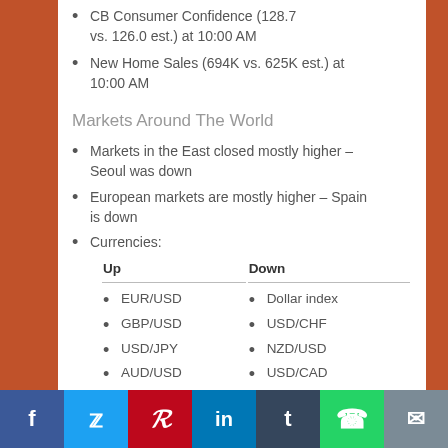CB Consumer Confidence (128.7 vs. 126.0 est.) at 10:00 AM
New Home Sales (694K vs. 625K est.) at 10:00 AM
Markets Around The World
Markets in the East closed mostly higher – Seoul was down
European markets are mostly higher – Spain is down
Currencies:
| Up | Down |
| --- | --- |
| EUR/USD | Dollar index |
| GBP/USD | USD/CHF |
| USD/JPY | NZD/USD |
| AUD/USD | USD/CAD |
|  | USD/INR |